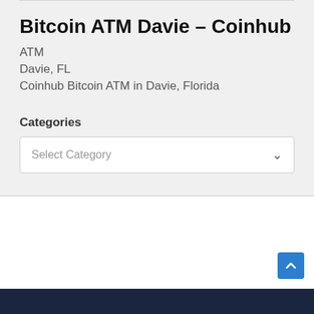Bitcoin ATM Davie – Coinhub
ATM
Davie, FL
Coinhub Bitcoin ATM in Davie, Florida
Categories
Select Category